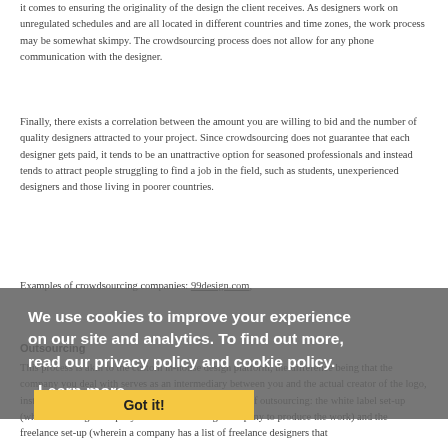it comes to ensuring the originality of the design the client receives. As designers work on unregulated schedules and are all located in different countries and time zones, the work process may be somewhat skimpy. The crowdsourcing process does not allow for any phone communication with the designer.
Finally, there exists a correlation between the amount you are willing to bid and the number of quality designers attracted to your project. Since crowdsourcing does not guarantee that each designer gets paid, it tends to be an unattractive option for seasoned professionals and instead tends to attract people struggling to find a job in the field, such as students, unexperienced designers and those living in poorer countries.
Examples of crowdsourcing companies: 99design.com,
Outsourcing
This process is akin to the custom in-house design platform, the difference being that the company you deal with serves as an intermediary between you and the actual creator of the logo, instead of creating the logo itself. There are two types of outsourcing: the white label set-up (wherein a design company hires another design company to produce the work) and the freelance set-up (wherein a company has a list of freelance designers that
We use cookies to improve your experience on our site and analytics. To find out more, read our privacy policy and cookie policy.
Learn more
Got it!